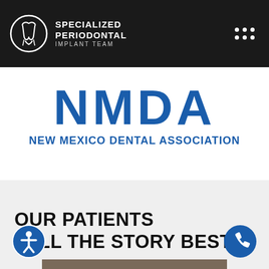SPECIALIZED PERIODONTAL IMPLANT TEAM
[Figure (logo): New Mexico Dental Association logo with large blue NMDA letters and subtitle NEW MEXICO DENTAL ASSOCIATION]
OUR PATIENTS TELL THE STORY BEST